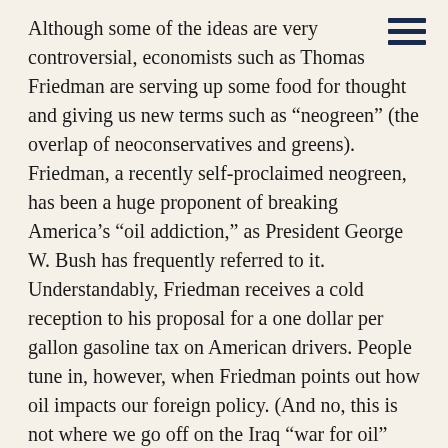Although some of the ideas are very controversial, economists such as Thomas Friedman are serving up some food for thought and giving us new terms such as “neogreen” (the overlap of neoconservatives and greens). Friedman, a recently self-proclaimed neogreen, has been a huge proponent of breaking America’s “oil addiction,” as President George W. Bush has frequently referred to it. Understandably, Friedman receives a cold reception to his proposal for a one dollar per gallon gasoline tax on American drivers. People tune in, however, when Friedman points out how oil impacts our foreign policy. (And no, this is not where we go off on the Iraq “war for oil” debate.)
Friedman is asking, why should the U.S. hope for change in places such as Sudan and Iran, when U.S. oil consumption leads to higher oil prices, which in turn keep these countries economically fat enough to keep social reform off the